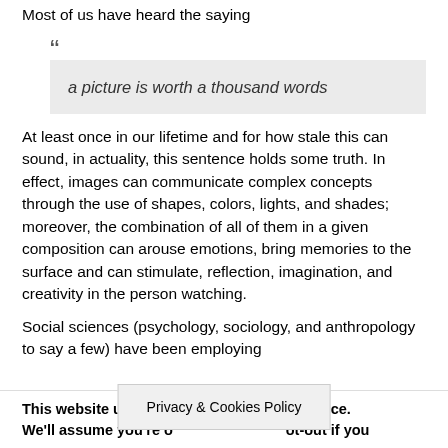Most of us have heard the saying
“ a picture is worth a thousand words
At least once in our lifetime and for how stale this can sound, in actuality, this sentence holds some truth. In effect, images can communicate complex concepts through the use of shapes, colors, lights, and shades; moreover, the combination of all of them in a given composition can arouse emotions, bring memories to the surface and can stimulate, reflection, imagination, and creativity in the person watching.
Social sciences (psychology, sociology, and anthropology to say a few) have been employing pictures and photos for example, the emotions...
This website uses cookies to improve your experience. We'll assume you're ok with this, but you can opt-out if you
Privacy & Cookies Policy